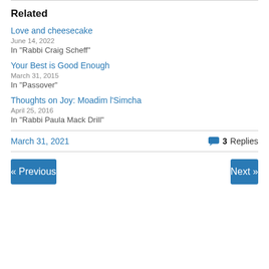Related
Love and cheesecake
June 14, 2022
In "Rabbi Craig Scheff"
Your Best is Good Enough
March 31, 2015
In "Passover"
Thoughts on Joy: Moadim l'Simcha
April 25, 2016
In "Rabbi Paula Mack Drill"
March 31, 2021
3 Replies
« Previous
Next »